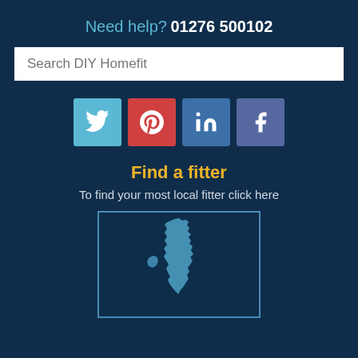Need help? 01276 500102
Search DIY Homefit
[Figure (infographic): Social media icons: Twitter (light blue), Pinterest (red), LinkedIn (blue), Facebook (purple-blue)]
Find a fitter
To find your most local fitter click here
[Figure (map): Map of the United Kingdom shown in light blue silhouette on dark blue background, inside a bordered box]